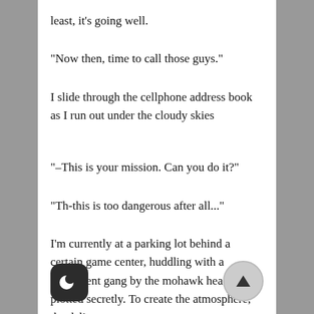least, it's going well.
“Now then, time to call those guys.”
I slide through the cellphone address book as I run out under the cloudy skies
“–This is your mission. Can you do it?”
“Th-this is too dangerous after all...”
I’m currently at a parking lot behind a certain game center, huddling with a delinquent gang by the mohawk head as we plotted secretly. To create the atmosphere, the delinquents